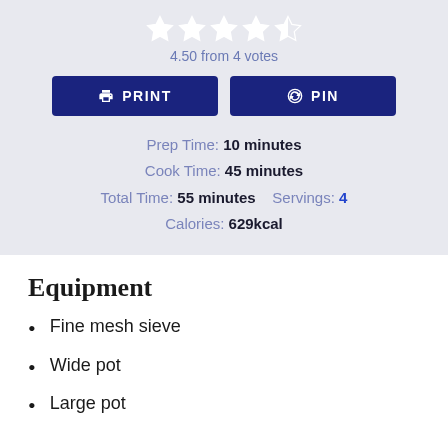[Figure (other): Star rating: 4.5 out of 5 stars (4 filled, 1 half)]
4.50 from 4 votes
PRINT | PIN (buttons)
Prep Time: 10 minutes
Cook Time: 45 minutes
Total Time: 55 minutes   Servings: 4
Calories: 629kcal
Equipment
Fine mesh sieve
Wide pot
Large pot